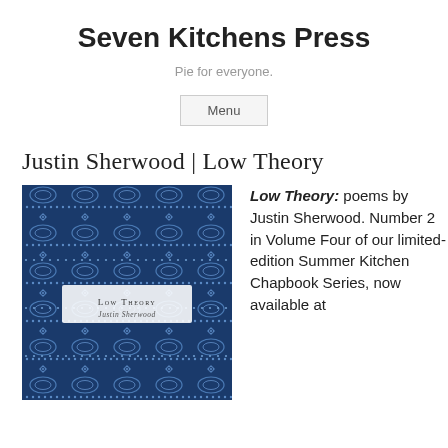Seven Kitchens Press
Pie for everyone.
Menu
Justin Sherwood | Low Theory
[Figure (photo): Book cover of 'Low Theory' by Justin Sherwood — dark navy blue background with an intricate woven/textile pattern in lighter blue, with a white label in the center reading 'Low Theory / Justin Sherwood']
Low Theory: poems by Justin Sherwood. Number 2 in Volume Four of our limited-edition Summer Kitchen Chapbook Series, now available at